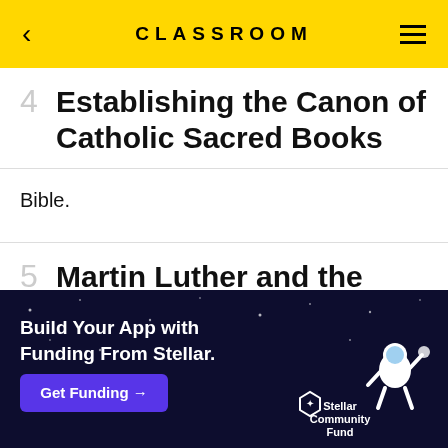CLASSROOM
4  Establishing the Canon of Catholic Sacred Books
Bible.
5  Martin Luther and the Apocrypha
A German priest disgruntled with church doctrine concerning salvation began a
[Figure (screenshot): Advertisement banner: Build Your App with Funding From Stellar. Get Funding button. Stellar Community Fund branding with astronaut graphic on dark navy background.]